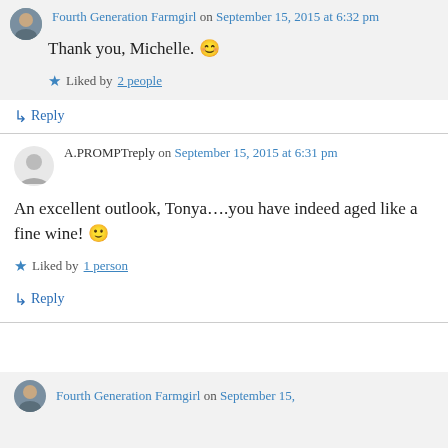Fourth Generation Farmgirl on September 15, 2015 at 6:32 pm
Thank you, Michelle. 😊
Liked by 2 people
↳ Reply
A.PROMPTreply on September 15, 2015 at 6:31 pm
An excellent outlook, Tonya….you have indeed aged like a fine wine! 🙂
Liked by 1 person
↳ Reply
Fourth Generation Farmgirl on September 15,